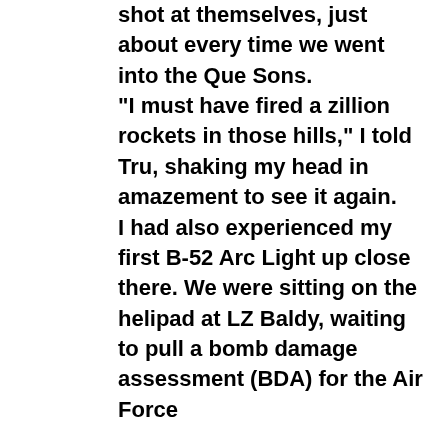shot at themselves, just about every time we went into the Que Sons. "I must have fired a zillion rockets in those hills," I told Tru, shaking my head in amazement to see it again. I had also experienced my first B-52 Arc Light up close there. We were sitting on the helipad at LZ Baldy, waiting to pull a bomb damage assessment (BDA) for the Air Force